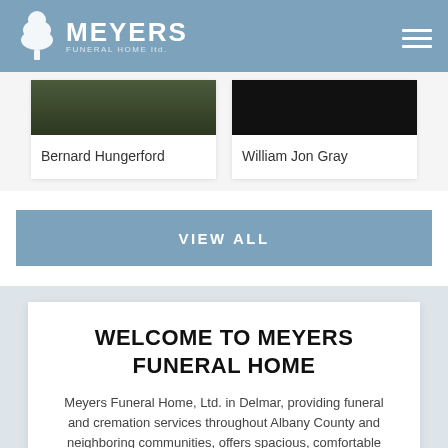MEYERS FUNERAL HOME LTD
Bernard Hungerford
William Jon Gray
VIEW ALL
WELCOME TO MEYERS FUNERAL HOME
Meyers Funeral Home, Ltd. in Delmar, providing funeral and cremation services throughout Albany County and neighboring communities, offers spacious, comfortable surroundings, tastefully